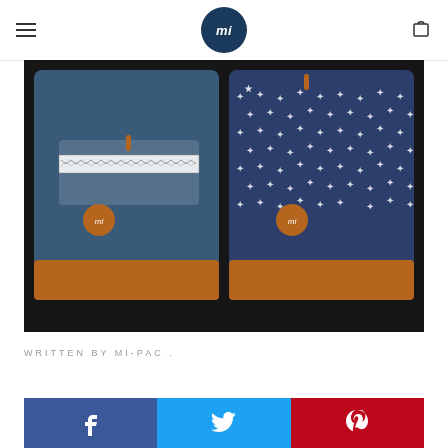mi
[Figure (photo): Two mi-pac backpacks side by side on a dark textured surface. Left backpack is plain navy blue with a patterned front pocket strip and tan leather base. Right backpack is navy with white stars pattern and tan leather base. Both have orange/brown leather zipper pulls and circular mi-pac logo badges.]
WRITTEN BY MI-PAC .
[Figure (infographic): Social media sharing bar with three buttons: Facebook (blue), Twitter (light blue), Pinterest (red), each showing their respective icons.]